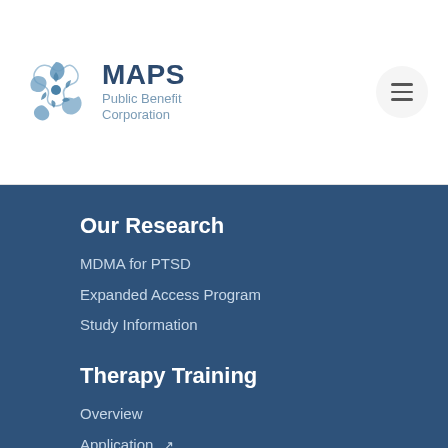[Figure (logo): MAPS Public Benefit Corporation logo with spiral icon]
Our Research
MDMA for PTSD
Expanded Access Program
Study Information
MDMA Brochure [external link]
Participate in Trials [external link]
Therapy Training
Overview
Application [external link]